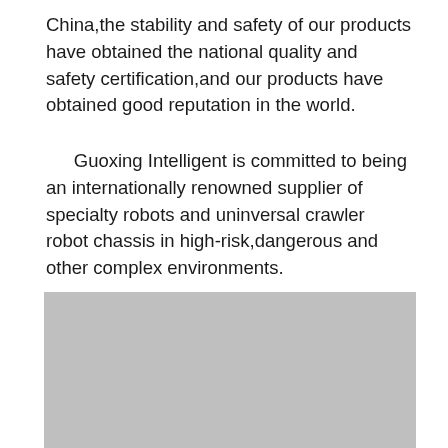China,the stability and safety of our products have obtained the national quality and safety certification,and our products have obtained good reputation in the world.
Guoxing Intelligent is committed to being an internationally renowned supplier of specialty robots and uninversal crawler robot chassis in high-risk,dangerous and other complex environments.
[Figure (photo): A gray placeholder image block representing a photo of a robot or crawler chassis product.]